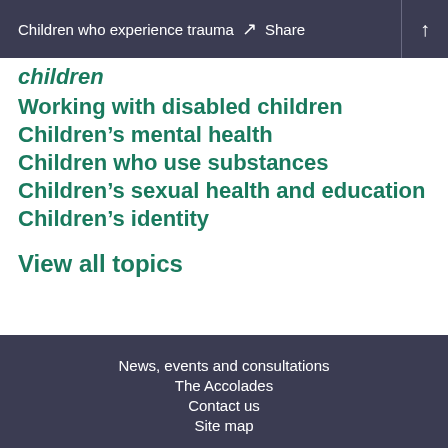Children who experience trauma  Share
children
Working with disabled children
Children's mental health
Children who use substances
Children's sexual health and education
Children's identity
View all topics
News, events and consultations
The Accolades
Contact us
Site map